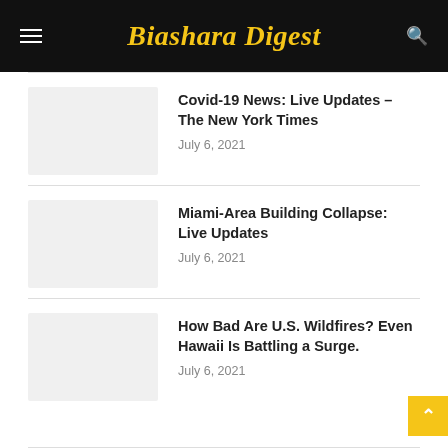Biashara Digest
Covid-19 News: Live Updates – The New York Times
July 6, 2021
Miami-Area Building Collapse: Live Updates
July 6, 2021
How Bad Are U.S. Wildfires? Even Hawaii Is Battling a Surge.
July 6, 2021